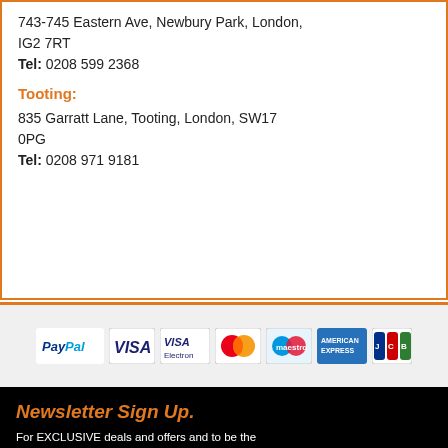743-745 Eastern Ave, Newbury Park, London, IG2 7RT
Tel: 0208 599 2368
Tooting:
835 Garratt Lane, Tooting, London, SW17 0PG
Tel: 0208 971 9181
[Figure (logo): Payment method logos: PayPal, Visa, Visa Electron, Mastercard, Maestro, American Express, JCB]
Newsletter Sign Up.
For EXCLUSIVE deals and offers and to be the first to here about our latest and greatest products. Register NOW.
[Figure (logo): Facebook logo with text 'Like us to get exclusive offers & deals']
[Figure (logo): WhatsApp logo icon (green circle with phone handset)]